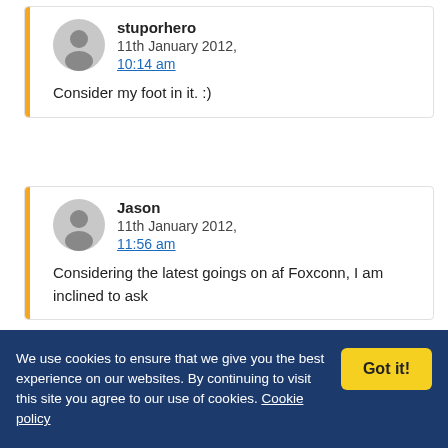stuporhero
11th January 2012, 10:14 am
Consider my foot in it. :)
Jason
11th January 2012, 11:56 am
Considering the latest goings on af Foxconn, I am inclined to ask
We use cookies to ensure that we give you the best experience on our websites. By continuing to visit this site you agree to our use of cookies. Cookie policy